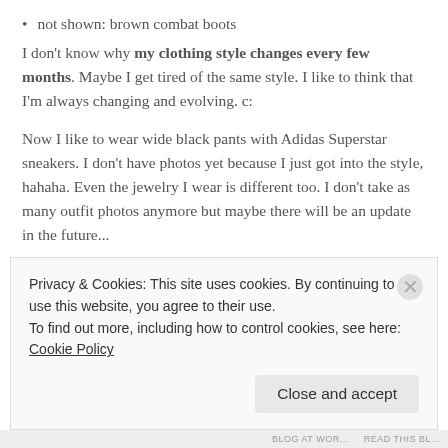not shown: brown combat boots
I don't know why my clothing style changes every few months. Maybe I get tired of the same style. I like to think that I'm always changing and evolving. c:
Now I like to wear wide black pants with Adidas Superstar sneakers. I don't have photos yet because I just got into the style, hahaha. Even the jewelry I wear is different too. I don't take as many outfit photos anymore but maybe there will be an update in the future...
Episodes 9 and 10 of My Hero Academia season 3 were amazing. I'll
Privacy & Cookies: This site uses cookies. By continuing to use this website, you agree to their use.
To find out more, including how to control cookies, see here: Cookie Policy
Close and accept